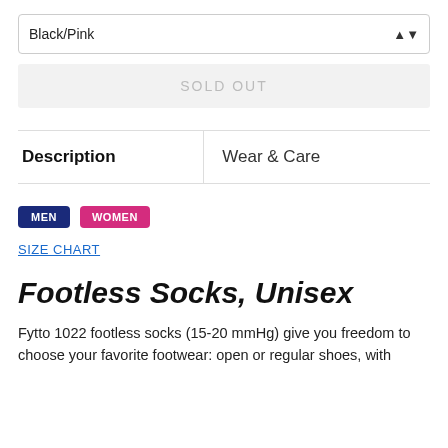Black/Pink
SOLD OUT
Description | Wear & Care
MEN
WOMEN
SIZE CHART
Footless Socks, Unisex
Fytto 1022 footless socks (15-20 mmHg) give you freedom to choose your favorite footwear: open or regular shoes, with